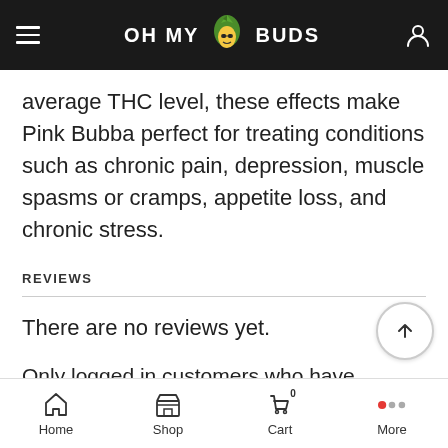OH MY BUDS
average THC level, these effects make Pink Bubba perfect for treating conditions such as chronic pain, depression, muscle spasms or cramps, appetite loss, and chronic stress.
REVIEWS
There are no reviews yet.
Only logged in customers who have purchased this product may leave a review.
Home  Shop  Cart  More